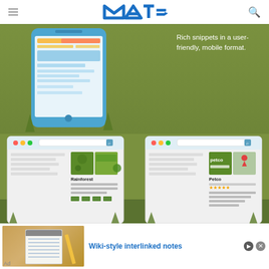MAT= (logo)
[Figure (illustration): Green background illustration showing a mobile phone mockup with rich snippets (star ratings, search results), and two browser window mockups showing Google Knowledge Panel results for 'Rainforest' and 'Petco' with rich snippets. Text overlay reads: Rich snippets in a user-friendly, mobile format.]
Rich snippets in a user-friendly, mobile format.
[Figure (photo): Photo of a spiral notebook and pencil on a wooden desk surface, used as advertisement image.]
Wiki-style interlinked notes
Ad